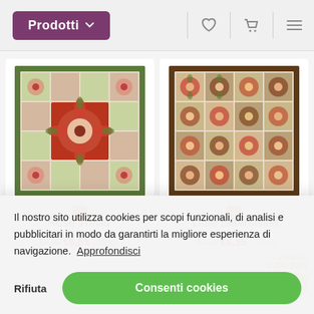Prodotti
[Figure (photo): Cross-stitch embroidery product image for Rose Trellis - green and pink floral tile pattern]
Rose Trellis
€7,90 €6,55 (-35%)
[Figure (photo): Cross-stitch embroidery product image for Little Bittersweet - red brown and green floral tile pattern]
Little Bittersweet
€7,90 €6,55 (-35%)
Il nostro sito utilizza cookies per scopi funzionali, di analisi e pubblicitari in modo da garantirti la migliore esperienza di navigazione.  Approfondisci
Rifiuta
Consenti cookies